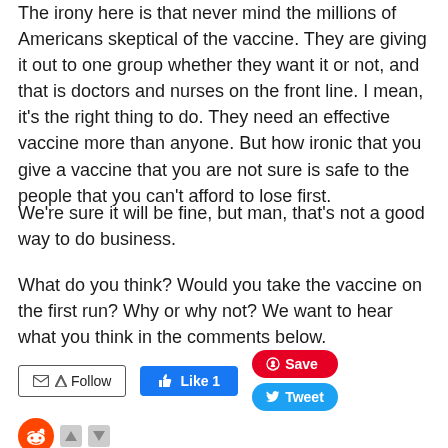The irony here is that never mind the millions of Americans skeptical of the vaccine.  They are giving it out to one group whether they want it or not, and that is doctors and nurses on the front line.  I mean, it's the right thing to do.  They need an effective vaccine more than anyone.  But how ironic that you give a vaccine that you are not sure is safe to the people that you can't afford to lose first.
We're sure it will be fine, but man, that's not a good way to do business.
What do you think?  Would you take the vaccine on the first run?  Why or why not?  We want to hear what you think in the comments below.
[Figure (screenshot): Social sharing buttons: Follow button (email/RSS), Like 1 (Facebook), Save (Pinterest), Tweet (Twitter)]
[Figure (screenshot): Reddit voting widget with Reddit alien icon and up/down vote arrows]